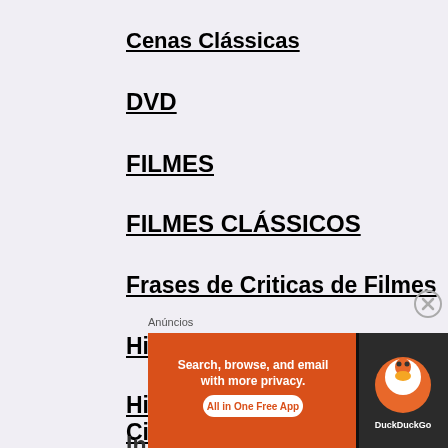Cenas Clássicas
DVD
FILMES
FILMES CLÁSSICOS
Frases de Criticas de Filmes
Historias de Cinema
Historias do Clube de Cinema
In Memoriam...
Anúncios
[Figure (screenshot): DuckDuckGo advertisement banner: Search, browse, and email with more privacy. All in One Free App]